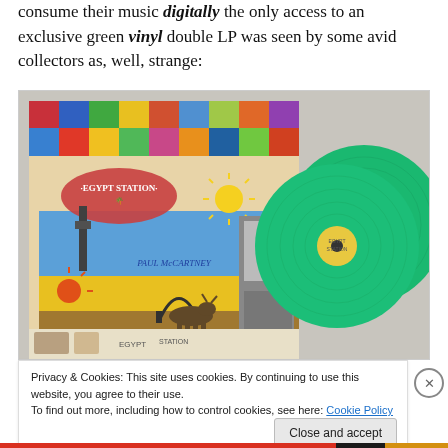consume their music digitally the only access to an exclusive green vinyl double LP was seen by some avid collectors as, well, strange:
[Figure (photo): Paul McCartney Egypt Station album cover art alongside two green vinyl LP records]
Privacy & Cookies: This site uses cookies. By continuing to use this website, you agree to their use.
To find out more, including how to control cookies, see here: Cookie Policy
Close and accept